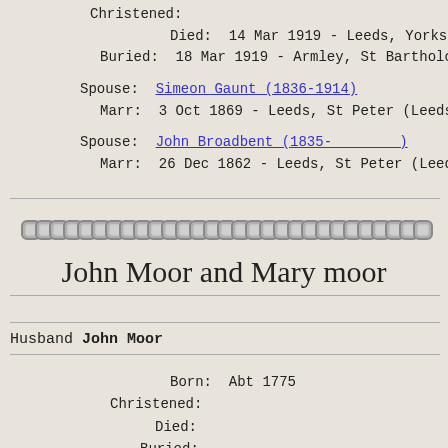Christened:
Died: 14 Mar 1919 - Leeds, Yorkshire, Engla
Buried: 18 Mar 1919 - Armley, St Bartholomew
Spouse: Simeon Gaunt (1836-1914)
Marr: 3 Oct 1869 - Leeds, St Peter (Leeds M
Spouse: John Broadbent (1835-        )
Marr: 26 Dec 1862 - Leeds, St Peter (Leeds
[Figure (illustration): Chain link decorative divider image]
John Moor and Mary moor
Husband John Moor
Born: Abt 1775
Christened:
Died:
Buried: